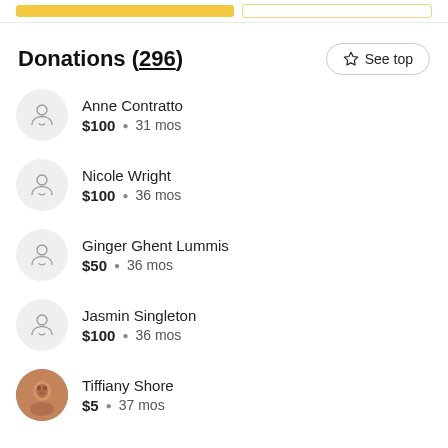Donations (296)
Anne Contratto · $100 · 31 mos
Nicole Wright · $100 · 36 mos
Ginger Ghent Lummis · $50 · 36 mos
Jasmin Singleton · $100 · 36 mos
Tiffiany Shore · $5 · 37 mos